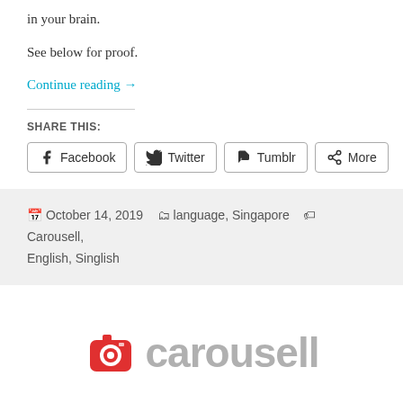in your brain.
See below for proof.
Continue reading →
SHARE THIS:
Facebook  Twitter  Tumblr  More
October 14, 2019  language, Singapore  Carousell, English, Singlish
[Figure (logo): Carousell logo with red camera icon and grey text 'carousell']